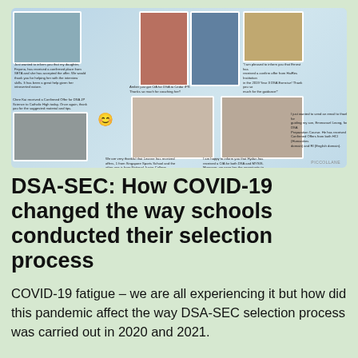[Figure (photo): A photo collage showing multiple images of students and children in classroom and group settings, with text captions overlaid describing DSA-SEC success stories. Photos show children in various educational contexts, some in classrooms, some posing in groups. Small testimonial captions are scattered across the collage. A watermark reads 'PICCOLLANE' in the bottom right. A smiley face emoji appears on the left side.]
DSA-SEC: How COVID-19 changed the way schools conducted their selection process
COVID-19 fatigue – we are all experiencing it but how did this pandemic affect the way DSA-SEC selection process was carried out in 2020 and 2021.